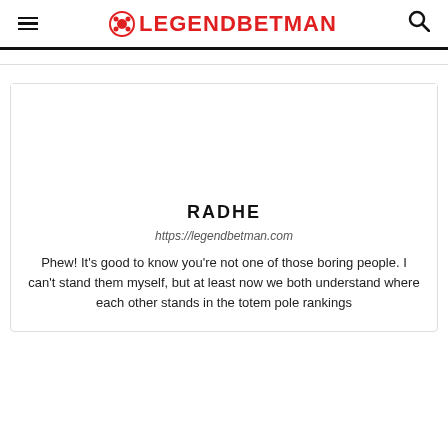LEGENDBETMAN
[Figure (illustration): Avatar/profile placeholder image area (blank white space)]
RADHE
https://legendbetman.com
Phew! It's good to know you're not one of those boring people. I can't stand them myself, but at least now we both understand where each other stands in the totem pole rankings